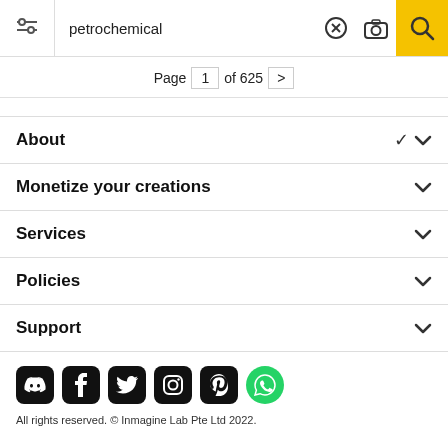[Figure (screenshot): Search bar with filter icon, 'petrochemical' search text, X button, camera icon, and yellow search magnifier button]
Page 1 of 625 >
About
Monetize your creations
Services
Policies
Support
[Figure (illustration): Social media icons row: Discord, Facebook, Twitter, Instagram, Pinterest, WhatsApp]
All rights reserved. © Inmagine Lab Pte Ltd 2022.